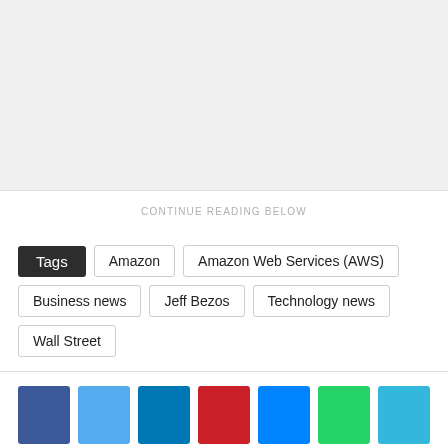[Figure (other): Gray advertisement/image placeholder area at top of page]
CONTINUE READING BELOW
Tags
Amazon
Amazon Web Services (AWS)
Business news
Jeff Bezos
Technology news
Wall Street
[Figure (other): Social media share buttons row: Facebook, Twitter, LinkedIn, Pinterest, Messenger, WhatsApp, SMS]